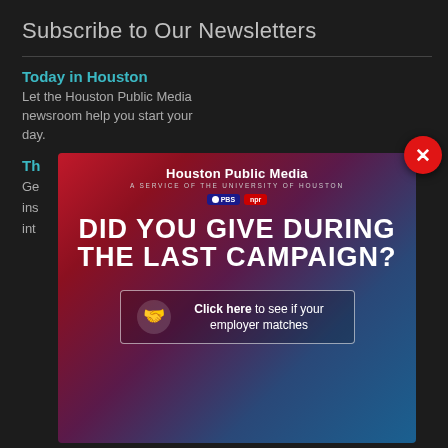Subscribe to Our Newsletters
Today in Houston
Let the Houston Public Media newsroom help you start your day.
Th...
Ge... ins... int...
[Figure (infographic): Houston Public Media modal ad with gradient red-to-blue background. Shows 'Houston Public Media A Service of the University of Houston' with PBS and NPR badges. Large white bold text reads 'DID YOU GIVE DURING THE LAST CAMPAIGN?' with a button 'Click here to see if your employer matches' and handshake icon.]
Contact Us
4343 Elgin, Houston, TX 77204-0008
[Figure (logo): Social media icons row: Facebook, Twitter, Instagram, YouTube, LinkedIn]